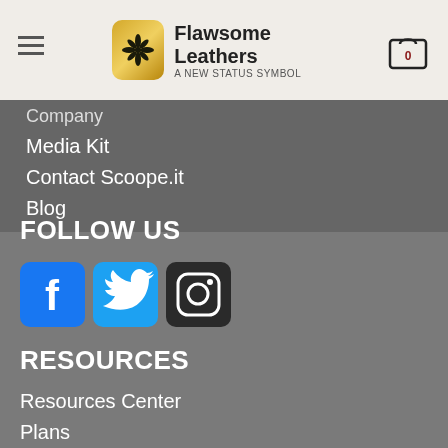Flawsome Leathers - A NEW STATUS SYMBOL
Company
Media Kit
Contact Scoope.it
Blog
FOLLOW US
[Figure (logo): Social media icons: Facebook, Twitter, Instagram]
RESOURCES
Resources Center
Plans
1 Introduction
TERMS